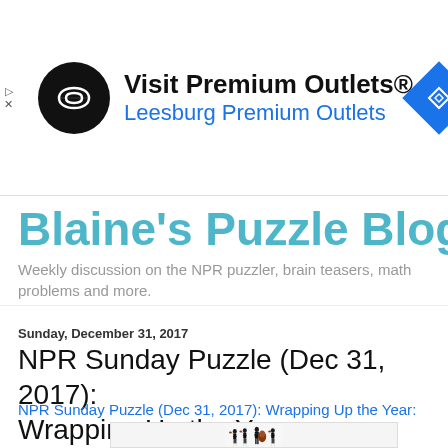[Figure (other): Advertisement banner: Visit Premium Outlets® / Leesburg Premium Outlets. Shows a circular black logo with double-arrow symbol on the left, a blue diamond navigation icon on the right.]
Blaine's Puzzle Blog
Weekly discussion on the NPR puzzler, brain teasers, math problems and more.
Sunday, December 31, 2017
NPR Sunday Puzzle (Dec 31, 2017): Wrapping Up the Year
NPR Sunday Puzzle (Dec 31, 2017): Wrapping Up the Year:
[Figure (photo): A string quartet of four musicians in black suits playing violin and cello, seated, on a white background.]